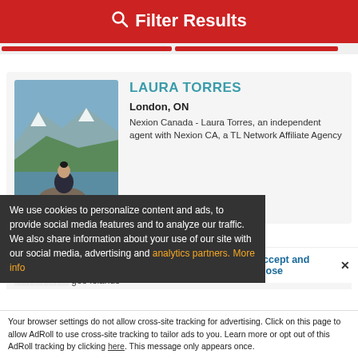Filter Results
[Figure (screenshot): Profile card of Laura Torres, travel agent, with mountain lake photo]
LAURA TORRES
London, ON
Nexion Canada - Laura Torres, an independent agent with Nexion CA, a TL Network Affiliate Agency
★★★★★ | 2 Reviews
ON SPECIALIST
gos Islands
We use cookies to personalize content and ads, to provide social media features and to analyze our traffic. We also share information about your use of our site with our social media, advertising and analytics partners. More info
Accept and Close ✕
Your browser settings do not allow cross-site tracking for advertising. Click on this page to allow AdRoll to use cross-site tracking to tailor ads to you. Learn more or opt out of this AdRoll tracking by clicking here. This message only appears once.